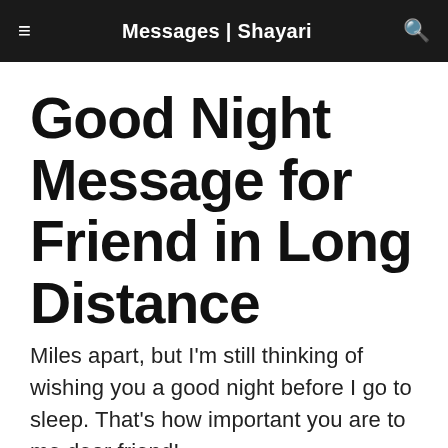Messages | Shayari
Good Night Message for Friend in Long Distance
Miles apart, but I'm still thinking of wishing you a good night before I go to sleep. That's how important you are to me dear friend!